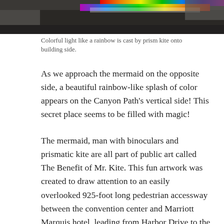[Figure (photo): Colorful rainbow light cast by a prism kite onto a building side, showing spectrum of colors against a dark background.]
Colorful light like a rainbow is cast by prism kite onto building side.
As we approach the mermaid on the opposite side, a beautiful rainbow-like splash of color appears on the Canyon Path's vertical side! This secret place seems to be filled with magic!
The mermaid, man with binoculars and prismatic kite are all part of public art called The Benefit of Mr. Kite. This fun artwork was created to draw attention to an easily overlooked 925-foot long pedestrian accessway between the convention center and Marriott Marquis hotel, leading from Harbor Drive to the Marriott Marina on San Diego Bay. The artists responsible for our magical journey are Mags Harries and Lajos Héder!